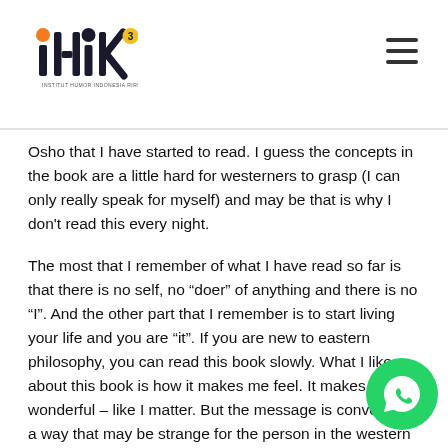ihik3 — Institut Humor Indonesia Riri (logo and navigation)
Osho that I have started to read. I guess the concepts in the book are a little hard for westerners to grasp (I can only really speak for myself) and may be that is why I don't read this every night.
The most that I remember of what I have read so far is that there is no self, no “doer” of anything and there is no “I”. And the other part that I remember is to start living your life and you are “it”. If you are new to eastern philosophy, you can read this book slowly. What I like about this book is how it makes me feel. It makes me feel wonderful – like I matter. But the message is conveyed in a way that may be strange for the person in the western world. So, if you are new to this, read a page a day.
I will for sure update my review once I am done with the book.